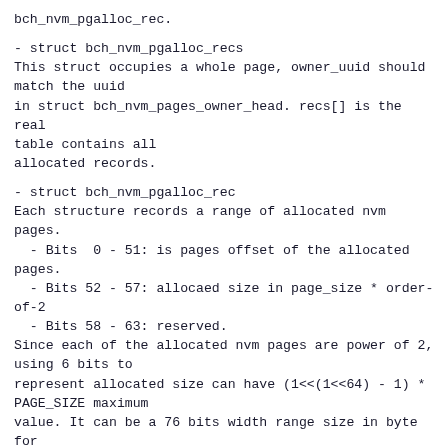bch_nvm_pgalloc_rec.
- struct bch_nvm_pgalloc_recs
This struct occupies a whole page, owner_uuid should match the uuid
in struct bch_nvm_pages_owner_head. recs[] is the real table contains all
allocated records.
- struct bch_nvm_pgalloc_rec
Each structure records a range of allocated nvm pages.
  - Bits  0 - 51: is pages offset of the allocated pages.
  - Bits 52 - 57: allocaed size in page_size * order-of-2
  - Bits 58 - 63: reserved.
Since each of the allocated nvm pages are power of 2, using 6 bits to
represent allocated size can have (1<<(1<<64) - 1) * PAGE_SIZE maximum
value. It can be a 76 bits width range size in byte for 4KB page size,
which is large enough currently.
Signed-off-by: Coly Li <colyli@suse.de>
Cc: Jianpeng Ma <jianpeng.ma@intel.com>
Cc: Qiaowei Ren <qiaowei.ren@intel.com>
---
 include/uapi/linux/bcache-nvm.h | 202
+++++++++++++++++++++++++++++++